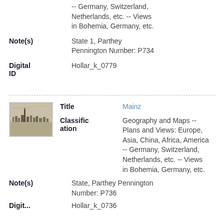-- Germany, Switzerland, Netherlands, etc. -- Views in Bohemia, Germany, etc.
Note(s): State 1, Parthey Pennington Number: P734
Digital ID: Hollar_k_0779
[Figure (photo): Small thumbnail image of an etching showing a panoramic view of a city (Mainz) with buildings and a skyline across a flat landscape.]
Title: Mainz
Classification: Geography and Maps -- Plans and Views: Europe, Asia, China, Africa, America -- Germany, Switzerland, Netherlands, etc. -- Views in Bohemia, Germany, etc.
Note(s): State, Parthey Pennington Number: P736
Digital ID: Hollar_k_0736